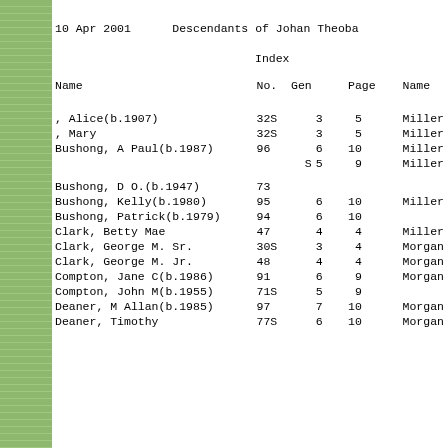10 Apr 2001      Descendants of Johan Theoba
Index
| Name | No. | Gen | Page | Name |
| --- | --- | --- | --- | --- |
| , Alice(b.1907) | 32S | 3 | 5 | Miller |
| , Mary | 32S | 3 | 5 | Miller |
| Bushong, A Paul(b.1987) | 96 | 6 | 10 | Miller |
|  | S | 5 | 9 | Miller |
| Bushong, D O.(b.1947) | 73 |  |  |  |
| Bushong, Kelly(b.1980) | 95 | 6 | 10 | Miller |
| Bushong, Patrick(b.1979) | 94 | 6 | 10 |  |
| Clark, Betty Mae | 47 | 4 | 4 | Miller |
| Clark, George M. Sr. | 30S | 3 | 4 | Morgan |
| Clark, George M. Jr. | 48 | 4 | 4 | Morgan |
| Compton, Jane C(b.1986) | 91 | 6 | 9 | Morgan |
| Compton, John M(b.1955) | 71S | 5 | 9 |  |
| Deaner, M Allan(b.1985) | 97 | 7 | 10 | Morgan |
| Deaner, Timothy | 77S | 6 | 10 | Morgan |